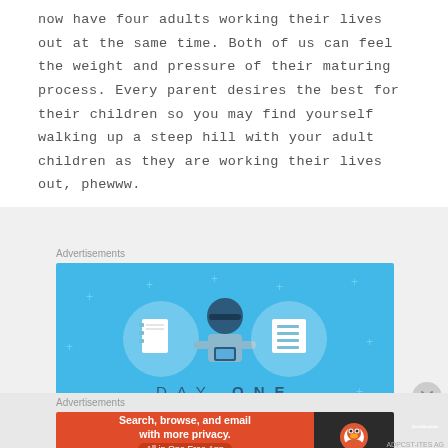now have four adults working their lives out at the same time. Both of us can feel the weight and pressure of their maturing process. Every parent desires the best for their children so you may find yourself walking up a steep hill with your adult children as they are working their lives out, phewww.
Advertisements
[Figure (illustration): DayOne app advertisement banner with blue background showing a person holding a phone flanked by two notebook icons, with text DAY ONE and The only journaling]
Advertisements
[Figure (illustration): DuckDuckGo advertisement banner with orange left side reading Search, browse, and email with more privacy. All in One Free App, and dark right side with DuckDuckGo logo]